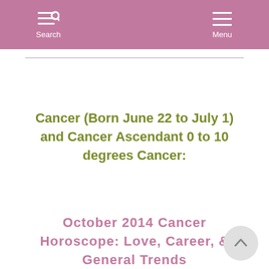Search | Menu
Cancer (Born June 22 to July 1) and Cancer Ascendant 0 to 10 degrees Cancer:
October 2014 Cancer Horoscope: Love, Career, & General Trends